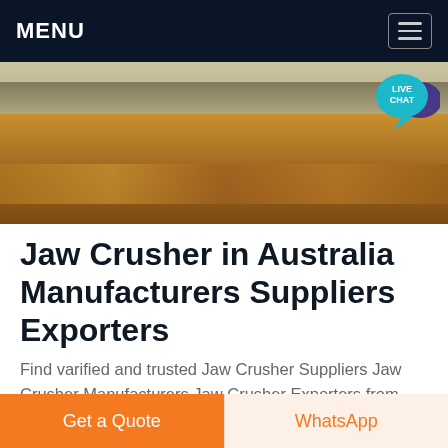MENU
[Figure (photo): Outdoor scene showing a dirt/gravel area with a dusty ground and some structures or machinery in the background. Live Chat bubble overlay in top right.]
Jaw Crusher in Australia Manufacturers Suppliers Exporters
Find varified and trusted Jaw Crusher Suppliers Jaw Crusher Manufacturers Jaw Crusher Exporters from Australia - Get best Quotation for Jaw Crusher from Suppliers Manufacturers and Exporters Australia For Buyers Post Your Buy Requirements View Mobile No...
Get a Quote
WhatsApp